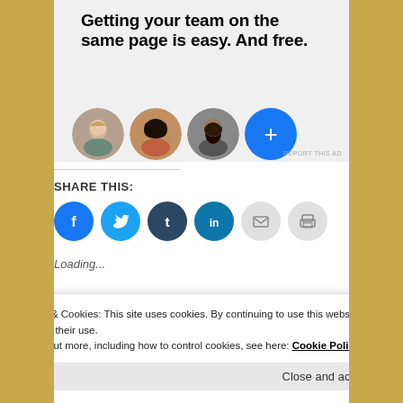[Figure (screenshot): Ad banner: 'Getting your team on the same page is easy. And free.' with three profile photo avatars and a blue plus button circle]
SHARE THIS:
[Figure (infographic): Row of social share icon buttons: Facebook (blue), Twitter (light blue), Tumblr (dark blue), LinkedIn (teal), Email (grey), Print (grey)]
Loading...
Privacy & Cookies: This site uses cookies. By continuing to use this website, you agree to their use.
To find out more, including how to control cookies, see here: Cookie Policy
Close and accept